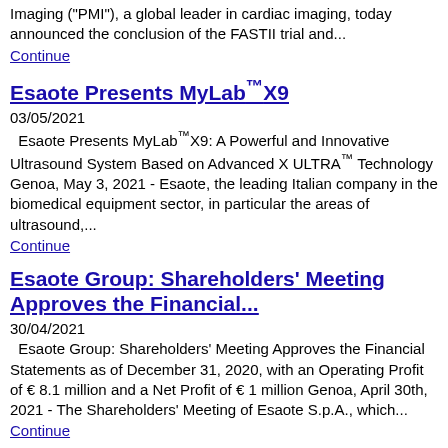Imaging ("PMI"), a global leader in cardiac imaging, today announced the conclusion of the FASTII trial and...
Continue
Esaote Presents MyLab™X9
03/05/2021
Esaote Presents MyLab™X9: A Powerful and Innovative Ultrasound System Based on Advanced X ULTRA™ Technology Genoa, May 3, 2021 - Esaote, the leading Italian company in the biomedical equipment sector, in particular the areas of ultrasound,...
Continue
Esaote Group: Shareholders' Meeting Approves the Financial...
30/04/2021
Esaote Group: Shareholders' Meeting Approves the Financial Statements as of December 31, 2020, with an Operating Profit of € 8.1 million and a Net Profit of € 1 million Genoa, April 30th, 2021 - The Shareholders' Meeting of Esaote S.p.A., which...
Continue